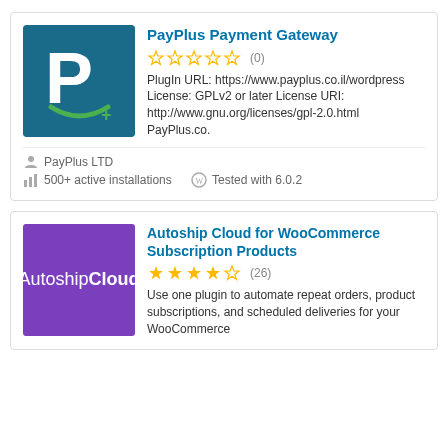[Figure (logo): PayPlus Payment Gateway plugin logo — teal/dark blue background with white P letter and green smile arc]
PayPlus Payment Gateway
☆☆☆☆☆ (0)
PlugIn URL: https://www.payplus.co.il/wordpress License: GPLv2 or later License URI: http://www.gnu.org/licenses/gpl-2.0.html PayPlus.co.
PayPlus LTD
500+ active installations
Tested with 6.0.2
[Figure (logo): Autoship Cloud for WooCommerce plugin logo — purple background with white text 'Autoship Cloud']
Autoship Cloud for WooCommerce Subscription Products
★★★★½ (26)
Use one plugin to automate repeat orders, product subscriptions, and scheduled deliveries for your WooCommerce